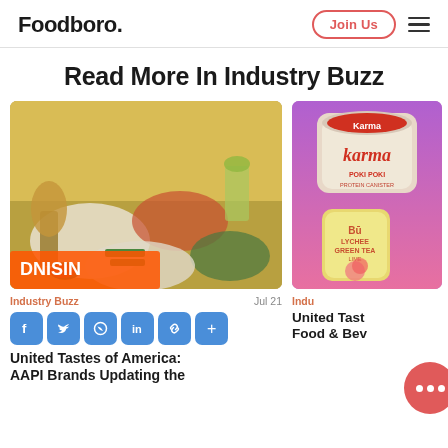Foodboro. | Join Us | [menu icon]
Read More In Industry Buzz
[Figure (photo): Food spread with multiple colorful dishes, rice, vegetables, green beans, cucumbers, sauces on a table with drinks]
[Figure (photo): Product photo showing Karma brand powder container and Bu Lychee Green Tea can against colorful background]
Industry Buzz   Jul 21
Indu
United Tastes of America: AAPI Brands Updating the
United Tast Food & Bev